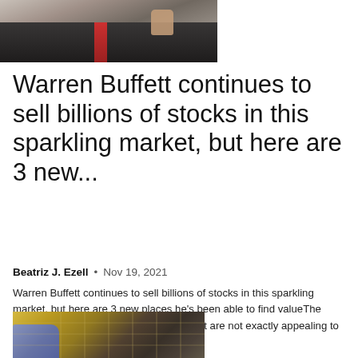[Figure (photo): Photo of Warren Buffett in a dark suit with red tie, hand raised near face]
Warren Buffett continues to sell billions of stocks in this sparkling market, but here are 3 new...
Beatriz J. Ezell  •  Nov 19, 2021
Warren Buffett continues to sell billions of stocks in this sparkling market, but here are 3 new places he's been able to find valueThe inflated valuations in today's stock market are not exactly appealing to value investors. It is...
[Figure (photo): Close-up photo of a hand in blue gloves holding a solar panel or electronic grid component]